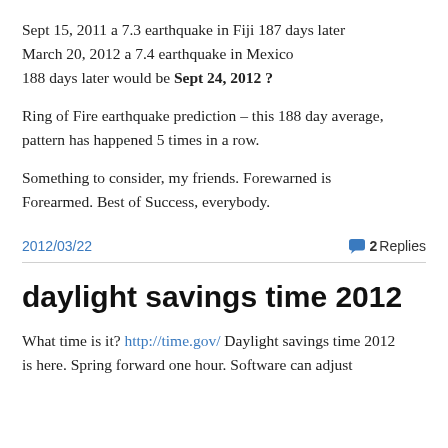Sept 15, 2011 a 7.3 earthquake in Fiji 187 days later March 20, 2012 a 7.4 earthquake in Mexico 188 days later would be Sept 24, 2012 ?
Ring of Fire earthquake prediction – this 188 day average, pattern has happened 5 times in a row.
Something to consider, my friends. Forewarned is Forearmed. Best of Success, everybody.
2012/03/22
2 Replies
daylight savings time 2012
What time is it? http://time.gov/ Daylight savings time 2012 is here. Spring forward one hour. Software can adjust